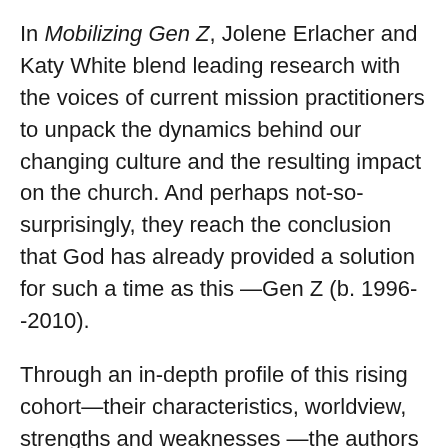In Mobilizing Gen Z, Jolene Erlacher and Katy White blend leading research with the voices of current mission practitioners to unpack the dynamics behind our changing culture and the resulting impact on the church. And perhaps not-so-surprisingly, they reach the conclusion that God has already provided a solution for such a time as this —Gen Z (b. 1996--2010).
Through an in-depth profile of this rising cohort—their characteristics, worldview, strengths and weaknesses—the authors illustrate both why Gen Z is sorely needed and why we must seek to engage them differently than previous generations. Encouraging